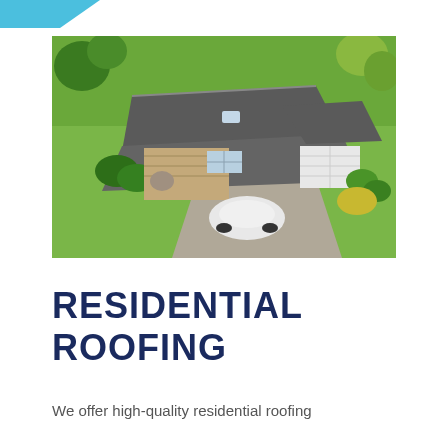[Figure (photo): Aerial drone view of a residential home with dark grey asphalt shingle roof, stone facade, white garage door, a white car parked in the driveway, surrounded by green lawn and trees.]
RESIDENTIAL ROOFING
We offer high-quality residential roofing